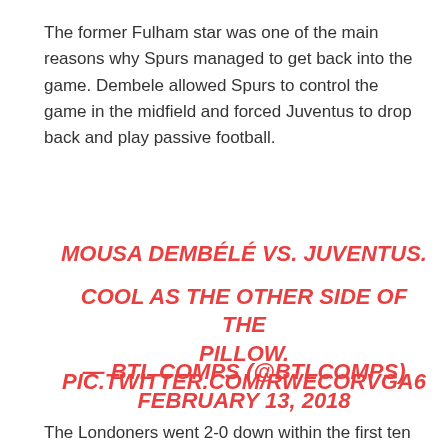The former Fulham star was one of the main reasons why Spurs managed to get back into the game. Dembele allowed Spurs to control the game in the midfield and forced Juventus to drop back and play passive football.
MOUSA DEMBÉLÉ VS. JUVENTUS. COOL AS THE OTHER SIDE OF THE PILLOW. PIC.TWITTER.COM/RWECORVGA6
— BTL COMPS (@BTLCOMPS) FEBRUARY 13, 2018
The Londoners went 2-0 down within the first ten minutes but they showed real character and fighting spirit to get back on